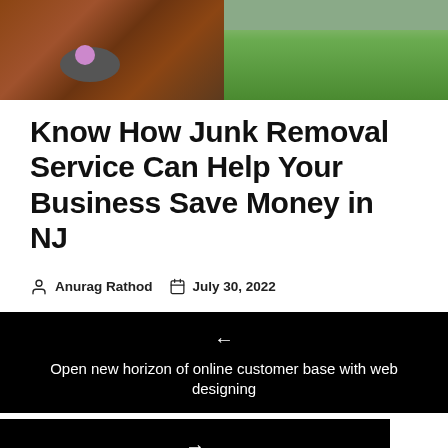[Figure (photo): Two photos side by side: left shows junk/wood debris with a person wearing purple, right shows a green garden/lawn area]
Know How Junk Removal Service Can Help Your Business Save Money in NJ
Anurag Rathod   July 30, 2022
← Open new horizon of online customer base with web designing
→ How To Choose the Best HVAC Company?